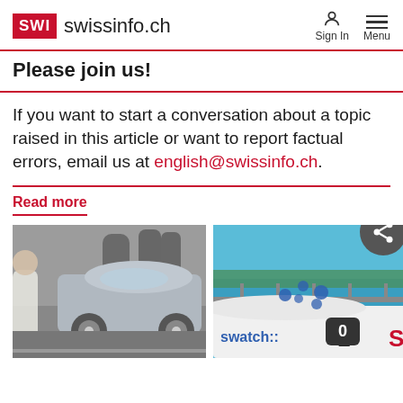SWI swissinfo.ch | Sign In | Menu
Please join us!
If you want to start a conversation about a topic raised in this article or want to report factual errors, email us at english@swissinfo.ch.
Read more
[Figure (photo): People walking near a silver Porsche SUV on a street]
[Figure (photo): A white solar car with Swatch branding and blue dots, numbered 1, near a lake or waterway]